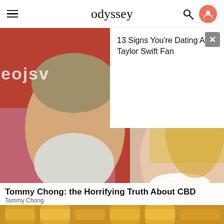odyssey
[Figure (photo): Cropped photo of an older man with white beard on the left and a smiling blonde woman on the right, with a white popup card overlay on the right side showing article teaser text '13 Signs You're Dating A Taylor Swift Fan' with a close (X) button]
Tommy Chong: the Horrifying Truth About CBD
Tommy Chong
[Figure (photo): Close-up photo of multiple bottles filled with amber/golden liquid (appears to be apple cider vinegar or similar beverage), arranged in a row]